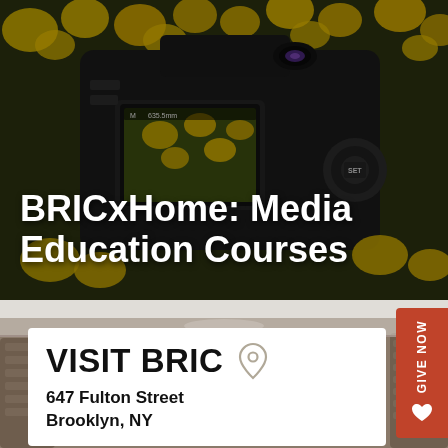[Figure (photo): Back of a DSLR camera with yellow flowers (black-eyed Susans) visible in the background and on the camera's LCD screen. Dark moody background.]
BRICxHome: Media Education Courses
GIVE NOW
[Figure (photo): Outdoor venue/patio area with wicker furniture, partially visible, forming the background behind the VISIT BRIC card.]
VISIT BRIC
647 Fulton Street
Brooklyn, NY